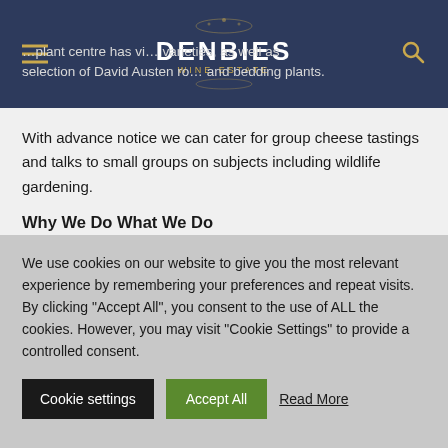DENBIES WINE ESTATE
…plant centre has vi… varieties, as well as selection of David Austen ro… roses and bedding plants.
With advance notice we can cater for group cheese tastings and talks to small groups on subjects including wildlife gardening.
Why We Do What We Do
We believe in local, natural, ethical food. These are values we hold dear to us and they're completely embodied in Village Greens:
Local: We're committed to reducing food miles and supporting small local producers.
We use cookies on our website to give you the most relevant experience by remembering your preferences and repeat visits. By clicking "Accept All", you consent to the use of ALL the cookies. However, you may visit "Cookie Settings" to provide a controlled consent.